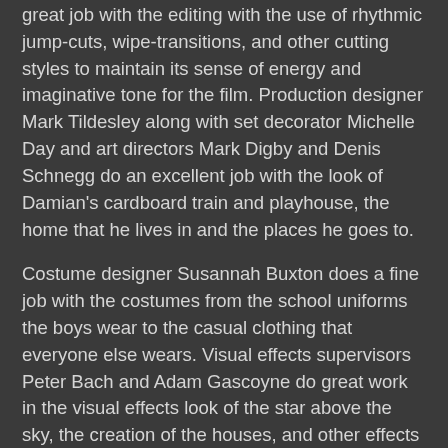great job with the editing with the use of rhythmic jump-cuts, wipe-transitions, and other cutting styles to maintain its sense of energy and imaginative tone for the film. Production designer Mark Tildesley along with set decorator Michelle Day and art directors Mark Digby and Denis Schnegg do an excellent job with the look of Damian's cardboard train and playhouse, the home that he lives in and the places he goes to.
Costume designer Susannah Buxton does a fine job with the costumes from the school uniforms the boys wear to the casual clothing that everyone else wears. Visual effects supervisors Peter Bach and Adam Gascoyne do great work in the visual effects look of the star above the sky, the creation of the houses, and other effects to emphasize on the film's imagination. Sound editor Glenn Freemantle does brilliant work with the film's sound to capture the energy of the robbery, the atmosphere of kids playing, and the imaginative world of Damian. Music composer John Murphy creates a light-hearted score filled with somber melodies and arrangements to emphasize on the film's innocence. Along with music from Feeder, Muse, the Clash, and traditional